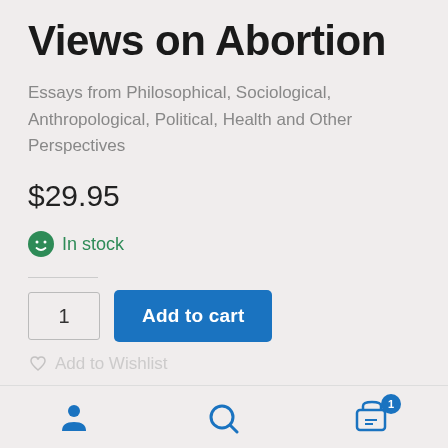Views on Abortion
Essays from Philosophical, Sociological, Anthropological, Political, Health and Other Perspectives
$29.95
In stock
1
Add to cart
Add to Wishlist